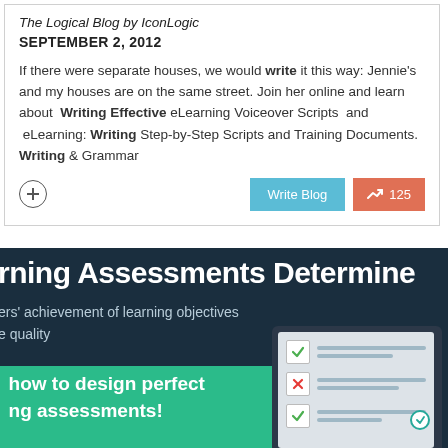The Logical Blog by IconLogic
SEPTEMBER 2, 2012
If there were separate houses, we would write it this way: Jennie's and my houses are on the same street. Join her online and learn about Writing Effective eLearning Voiceover Scripts and eLearning: Writing Step-by-Step Scripts and Training Documents. Writing & Grammar
[Figure (screenshot): Blog card with Write Blog button and 125 engagement count, plus a plus icon]
[Figure (infographic): Dark blue and teal banner partially visible showing 'rning Assessments Determine', 'ers achievement of learning objectives', 'e quality', and 'how to design perfect ng assessments!' with a checklist tablet graphic]